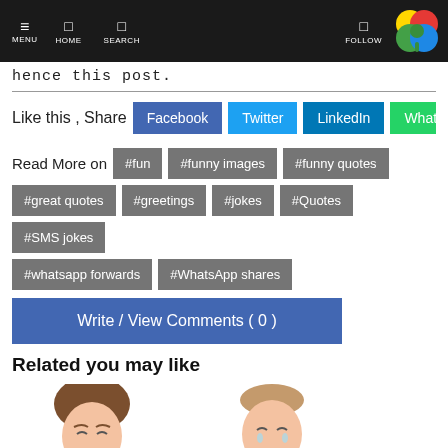MENU | HOME | SEARCH | FOLLOW
hence this post.
Like this , Share Facebook Twitter LinkedIn WhatsApp
Read More on #fun #funny images #funny quotes
#great quotes #greetings #jokes #Quotes #SMS jokes
#whatsapp forwards #WhatsApp shares
Write / View Comments ( 0 )
Related you may like
[Figure (illustration): Two cartoon illustration images partially visible at bottom of page]